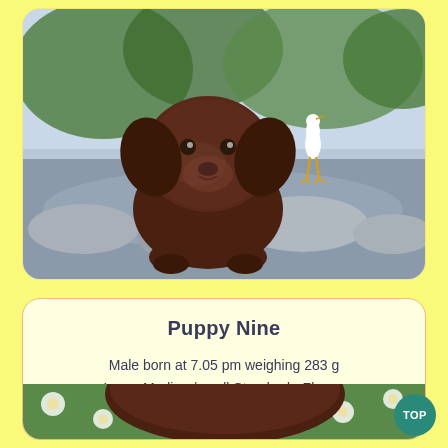[Figure (photo): A chocolate brown fluffy puppy sitting in front of a painted nature backdrop featuring a white egret/heron bird, rocks, water, and green foliage. The puppy is young and has wavy/curly fur.]
Puppy Nine
Male born at 7.05 pm weighing 283 g Large Medium/small Standard - Fleece - Chocolate -
[Figure (photo): Partial view of a chocolate brown puppy from above, lying on a floral patterned background with white flowers on green fabric.]